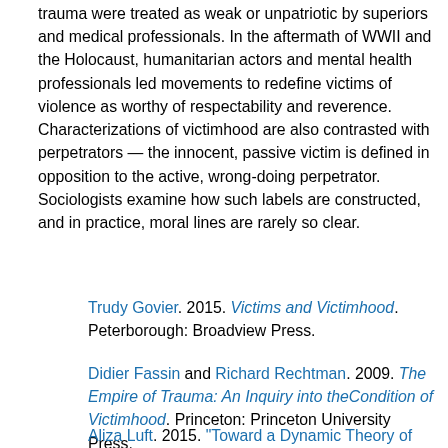trauma were treated as weak or unpatriotic by superiors and medical professionals. In the aftermath of WWII and the Holocaust, humanitarian actors and mental health professionals led movements to redefine victims of violence as worthy of respectability and reverence. Characterizations of victimhood are also contrasted with perpetrators — the innocent, passive victim is defined in opposition to the active, wrong-doing perpetrator. Sociologists examine how such labels are constructed, and in practice, moral lines are rarely so clear.
Trudy Govier. 2015. Victims and Victimhood. Peterborough: Broadview Press.
Didier Fassin and Richard Rechtman. 2009. The Empire of Trauma: An Inquiry into theCondition of Victimhood. Princeton: Princeton University Press.
Aliza Luft. 2015. "Toward a Dynamic Theory of Action